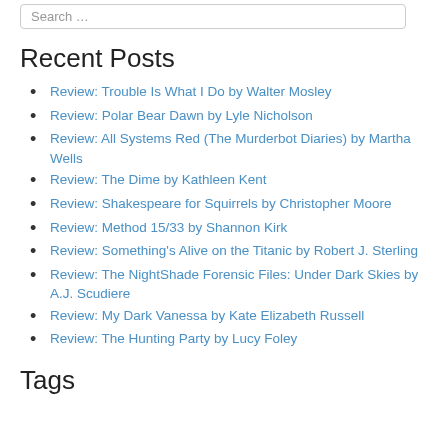Recent Posts
Review: Trouble Is What I Do by Walter Mosley
Review: Polar Bear Dawn by Lyle Nicholson
Review: All Systems Red (The Murderbot Diaries) by Martha Wells
Review: The Dime by Kathleen Kent
Review: Shakespeare for Squirrels by Christopher Moore
Review: Method 15/33 by Shannon Kirk
Review: Something's Alive on the Titanic by Robert J. Sterling
Review: The NightShade Forensic Files: Under Dark Skies by A.J. Scudiere
Review: My Dark Vanessa by Kate Elizabeth Russell
Review: The Hunting Party by Lucy Foley
Tags